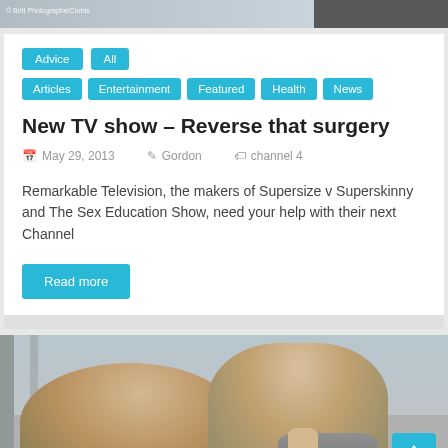[Figure (photo): Top image strip showing partial photo, with watermark text '© Britt Photographe/Corbis' in top left corner and dark section on right]
Advice
All
Articles
Entertainment
Featured
Health
News
New TV show – Reverse that surgery
May 29, 2013   Gordon   channel 4
Remarkable Television, the makers of Supersize v Superskinny and The Sex Education Show, need your help with their next Channel
Read more
[Figure (photo): Photo of two people (man and woman) in an indoor setting, appearing to be in conversation near a window with city buildings visible in background. A teal/cyan scroll-to-top arrow button appears in the bottom right corner.]